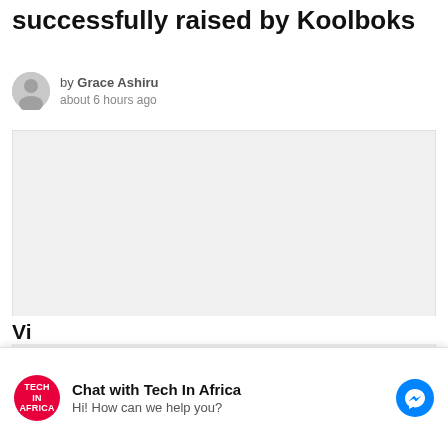successfully raised by Koolboks
by Grace Ashiru
about 6 hours ago
[Figure (other): Large image placeholder area, light grey background]
Chat with Tech In Africa
Hi! How can we help you?